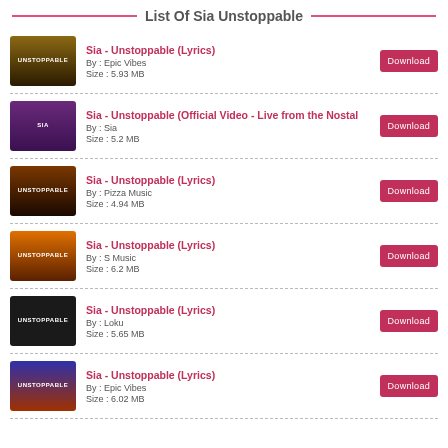List Of Sia Unstoppable
Sia - Unstoppable (Lyrics)
By : Epic Vibes
Size : 5.93 MB
Sia - Unstoppable (Official Video - Live from the Nostal
By : Sia
Size : 5.2 MB
Sia - Unstoppable (Lyrics)
By : Pizza Music
Size : 4.94 MB
Sia - Unstoppable (Lyrics)
By : S Music
Size : 6.2 MB
Sia - Unstoppable (Lyrics)
By : Loku
Size : 5.65 MB
Sia - Unstoppable (Lyrics)
By : Epic Vibes
Size : 6.02 MB